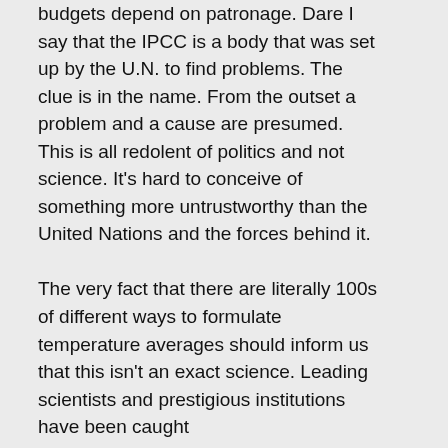budgets depend on patronage. Dare I say that the IPCC is a body that was set up by the U.N. to find problems. The clue is in the name. From the outset a problem and a cause are presumed. This is all redolent of politics and not science. It's hard to conceive of something more untrustworthy than the United Nations and the forces behind it.

The very fact that there are literally 100s of different ways to formulate temperature averages should inform us that this isn't an exact science. Leading scientists and prestigious institutions have been caught